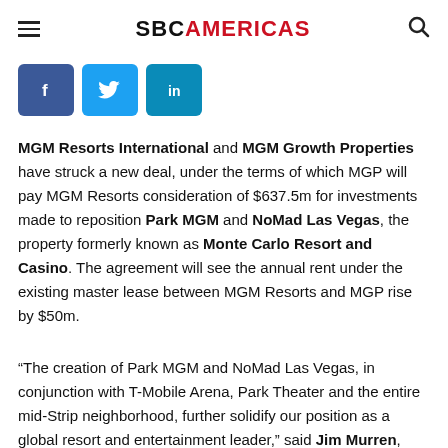SBC AMERICAS
[Figure (other): Social media share buttons: Facebook, Twitter, LinkedIn]
MGM Resorts International and MGM Growth Properties have struck a new deal, under the terms of which MGP will pay MGM Resorts consideration of $637.5m for investments made to reposition Park MGM and NoMad Las Vegas, the property formerly known as Monte Carlo Resort and Casino. The agreement will see the annual rent under the existing master lease between MGM Resorts and MGP rise by $50m.
“The creation of Park MGM and NoMad Las Vegas, in conjunction with T-Mobile Arena, Park Theater and the entire mid-Strip neighborhood, further solidify our position as a global resort and entertainment leader,” said Jim Murren,